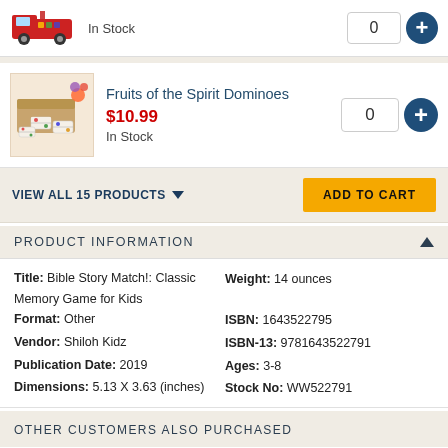[Figure (photo): Product thumbnail: children's toy truck with colorful letters/numbers]
In Stock
0
[Figure (photo): Product image: Fruits of the Spirit Dominoes wooden box with domino tiles]
Fruits of the Spirit Dominoes
$10.99
In Stock
0
VIEW ALL 15 PRODUCTS ▼
ADD TO CART
PRODUCT INFORMATION ▲
| Title: Bible Story Match!: Classic Memory Game for Kids | Weight: 14 ounces |
| Format: Other | ISBN: 1643522795 |
| Vendor: Shiloh Kidz | ISBN-13: 9781643522791 |
| Publication Date: 2019 | Ages: 3-8 |
| Dimensions: 5.13 X 3.63 (inches) | Stock No: WW522791 |
OTHER CUSTOMERS ALSO PURCHASED